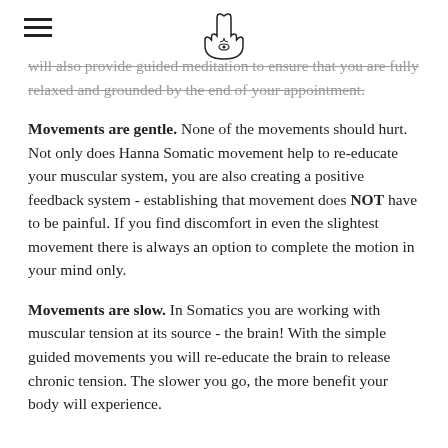[Hamsa hand logo with hamburger menu]
will also provide guided meditation to ensure that you are fully relaxed and grounded by the end of your appointment.
Movements are gentle.  None of the movements should hurt.  Not only does Hanna Somatic movement help to re-educate your muscular system, you are also creating a positive feedback system - establishing that movement does NOT have to be painful.  If you find discomfort in even the slightest movement there is always an option to complete the motion in your mind only.
Movements are slow.  In Somatics you are working with muscular tension at its source - the brain!  With the simple guided movements you will re-educate the brain to release chronic tension.  The slower you go, the more benefit your body will experience.